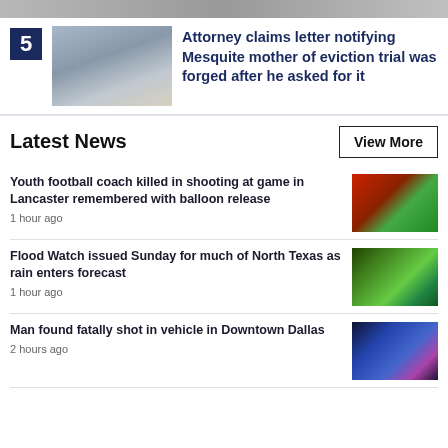[Figure (photo): Top strip partial image]
5
[Figure (photo): Government center building exterior]
Attorney claims letter notifying Mesquite mother of eviction trial was forged after he asked for it
Latest News
View More
Youth football coach killed in shooting at game in Lancaster remembered with balloon release
1 hour ago
[Figure (photo): Balloon release memorial photo]
Flood Watch issued Sunday for much of North Texas as rain enters forecast
1 hour ago
[Figure (photo): Weather forecast map showing North Texas flood watch]
Man found fatally shot in vehicle in Downtown Dallas
2 hours ago
[Figure (photo): Police vehicle at night scene in Downtown Dallas]